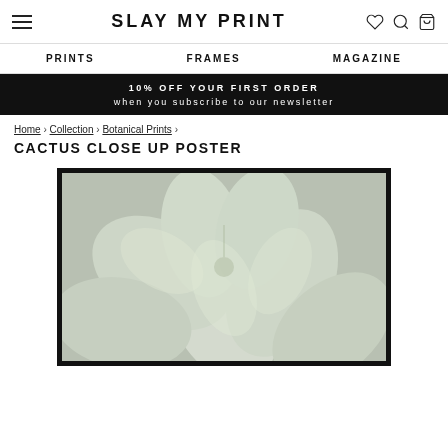SLAY MY PRINT
PRINTS   FRAMES   MAGAZINE
10% OFF YOUR FIRST ORDER when you subscribe to our newsletter
Home › Collection › Botanical Prints ›
CACTUS CLOSE UP POSTER
[Figure (photo): Close-up photograph of a pale green succulent/cactus plant with smooth leaf petals arranged in a rosette pattern, displayed in a black frame.]